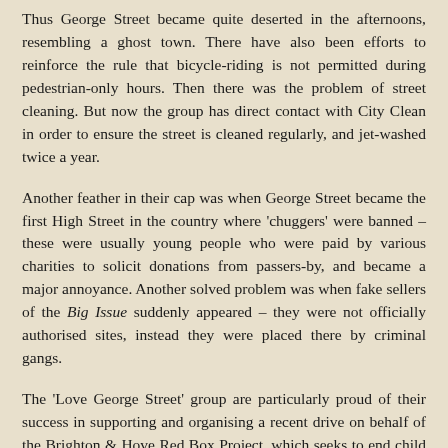Thus George Street became quite deserted in the afternoons, resembling a ghost town. There have also been efforts to reinforce the rule that bicycle-riding is not permitted during pedestrian-only hours. Then there was the problem of street cleaning. But now the group has direct contact with City Clean in order to ensure the street is cleaned regularly, and jet-washed twice a year.
Another feather in their cap was when George Street became the first High Street in the country where 'chuggers' were banned – these were usually young people who were paid by various charities to solicit donations from passers-by, and became a major annoyance. Another solved problem was when fake sellers of the Big Issue suddenly appeared – they were not officially authorised sites, instead they were placed there by criminal gangs.
The 'Love George Street' group are particularly proud of their success in supporting and organising a recent drive on behalf of the Brighton & Hove Red Box Project, which seeks to end child period poverty. When it was learned the project was struggling, they stepped in to help. Within the short